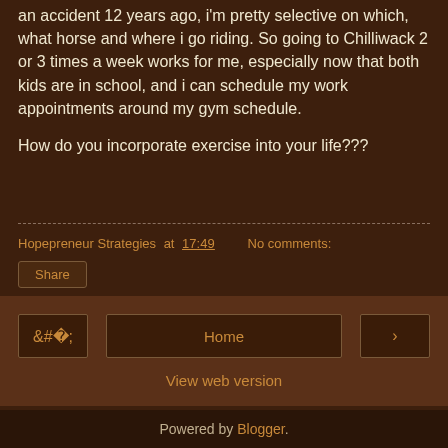an accident 12 years ago, i'm pretty selective on which, what horse and where i go riding. So going to Chilliwack 2 or 3 times a week works for me, especially now that both kids are in school, and i can schedule my work appointments around my gym schedule.
How do you incorporate exercise into your life???
Hopepreneur Strategies at 17:49   No comments:
Share
‹
Home
›
View web version
Powered by Blogger.